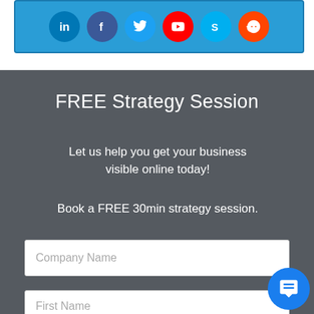[Figure (illustration): Social media icons (LinkedIn, Facebook, Twitter, YouTube, Skype, Reddit) on a blue banner background]
FREE Strategy Session
Let us help you get your business visible online today!
Book a FREE 30min strategy session.
Company Name
First Name